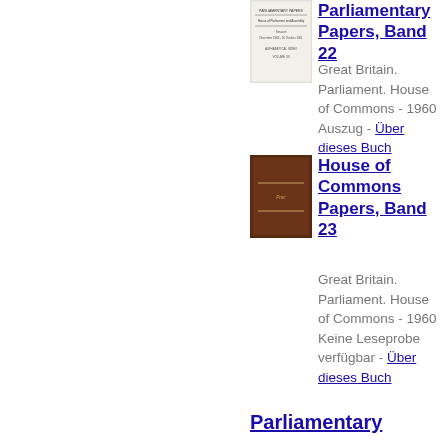[Figure (illustration): Thumbnail cover of Parliamentary Papers Band 22]
Parliamentary Papers, Band 22
Great Britain. Parliament. House of Commons - 1960
Auszug - Über dieses Buch
[Figure (illustration): Thumbnail cover of House of Commons Papers Band 23 - brown hardcover book]
House of Commons Papers, Band 23
Great Britain. Parliament. House of Commons - 1960
Keine Leseprobe verfügbar - Über dieses Buch
Parliamentary